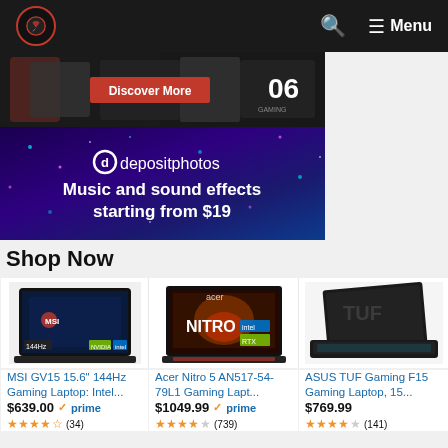Menu
[Figure (screenshot): Gaming laptop banner with red 'Discover More' button and '06' logo on dark background]
[Figure (photo): Depositphotos advertisement banner: Music and sound effects starting from $19]
Shop Now
[Figure (photo): MSI GV15 gaming laptop product image]
MSI GV15 15.6" 144Hz Gaming Laptop: Intel...
$639.00 ✓prime (34 reviews, 4.5 stars)
[Figure (photo): Acer Nitro 5 AN517-54-79L1 gaming laptop product image]
Acer Nitro 5 AN517-54-79L1 Gaming Lapt...
$1049.99 ✓prime (739 reviews, 4 stars)
[Figure (photo): ASUS TUF Gaming F15 laptop product image]
ASUS TUF Gaming F15 Gaming Laptop, 15...
$769.99 (141 reviews, 4 stars)